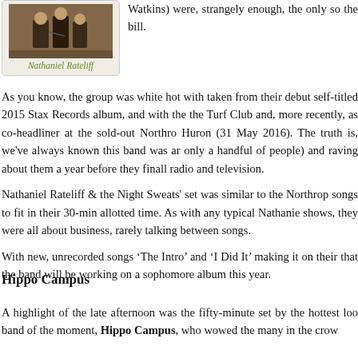[Figure (photo): Photo of Nathaniel Rateliff performing with a guitar]
Nathaniel Rateliff
Watkins) were, strangely enough, the only so the bill.

As you know, the group was white hot with taken from their debut self-titled 2015 Stax Records album, and with the the Turf Club and, more recently, as co-headliner at the sold-out Northro Huron (31 May 2016). The truth is, we've always known this band was ar only a handful of people) and raving about them a year before they finall radio and television.

Nathaniel Rateliff & the Night Sweats' set was similar to the Northrop songs to fit in their 30-min allotted time. As with any typical Nathanie shows, they were all about business, rarely talking between songs.

With new, unrecorded songs ‘The Intro’ and ‘I Did It’ making it on their that the band will be working on a sophomore album this year.
Hippo Campus
A highlight of the late afternoon was the fifty-minute set by the hottest loo band of the moment, Hippo Campus, who wowed the many in the crow